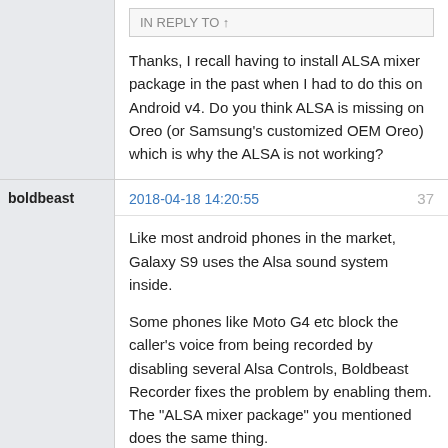Thanks, I recall having to install ALSA mixer package in the past when I had to do this on Android v4. Do you think ALSA is missing on Oreo (or Samsung's customized OEM Oreo) which is why the ALSA is not working?
boldbeast
2018-04-18 14:20:55
37
Like most android phones in the market, Galaxy S9 uses the Alsa sound system inside.
Some phones like Moto G4 etc block the caller's voice from being recorded by disabling several Alsa Controls, Boldbeast Recorder fixes the problem by enabling them. The "ALSA mixer package" you mentioned does the same thing.
However Galaxy S9 blocks the caller's voice from being recorded by other ways, so changing Alsa